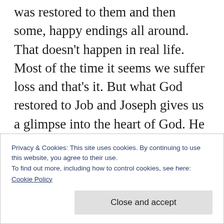was restored to them and then some, happy endings all around. That doesn't happen in real life. Most of the time it seems we suffer loss and that's it. But what God restored to Job and Joseph gives us a glimpse into the heart of God. He knows what we suffer, he feels our losses and he will make right all the wrongs we've experienced. No, probably not in this life, but that's the hope we have in Jesus: life after death, joy after mourning, peace after war, strength after weakness and restoration after
Privacy & Cookies: This site uses cookies. By continuing to use this website, you agree to their use.
To find out more, including how to control cookies, see here:
Cookie Policy
Close and accept